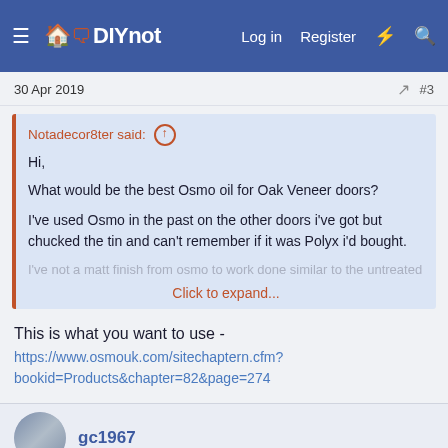DIYnot — Log in  Register
30 Apr 2019   #3
Notadecor8ter said: ↑

Hi,

What would be the best Osmo oil for Oak Veneer doors?

I've used Osmo in the past on the other doors i've got but chucked the tin and can't remember if it was Polyx i'd bought.

I've not a matt finish from osmo to work done similar to the untreated

Click to expand...
This is what you want to use -
https://www.osmouk.com/sitechaptern.cfm?bookid=Products&chapter=82&page=274
gc1967